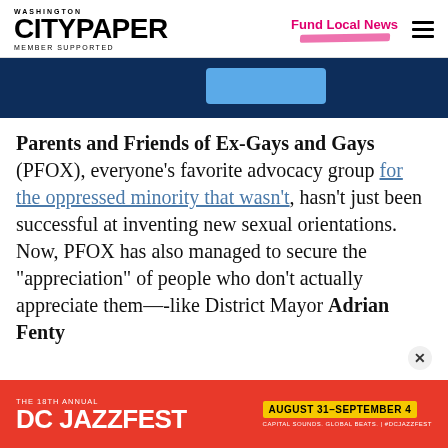Washington City Paper — Member Supported | Fund Local News
[Figure (other): Dark navy blue banner advertisement with a light blue button element in the center]
Parents and Friends of Ex-Gays and Gays (PFOX), everyone's favorite advocacy group for the oppressed minority that wasn't, hasn't just been successful at inventing new sexual orientations. Now, PFOX has also managed to secure the "appreciation" of people who don't actually appreciate them—-like District Mayor Adrian Fenty
[Figure (other): The 18th Annual DC Jazzfest advertisement banner. Red background. Text: THE 18TH ANNUAL DC JAZZFEST. AUGUST 31–SEPTEMBER 4. CAPITAL SOUNDS. GLOBAL BEATS. #DCJAZZFEST.]